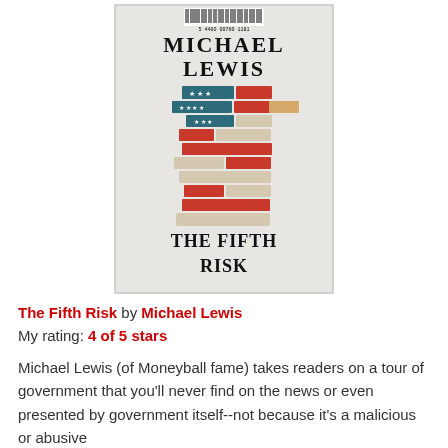[Figure (photo): Book cover of 'The Fifth Risk' by Michael Lewis, showing a Jenga tower made of blocks decorated with the American flag pattern (red, white stripes and blue with stars), with a barcode at the top.]
The Fifth Risk by Michael Lewis
My rating: 4 of 5 stars
Michael Lewis (of Moneyball fame) takes readers on a tour of government that you'll never find on the news or even presented by government itself--not because it's a malicious or abusive